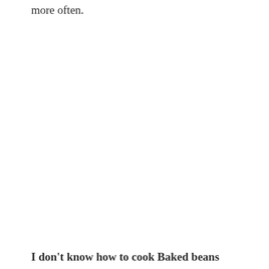more often.
I don't know how to cook Baked beans